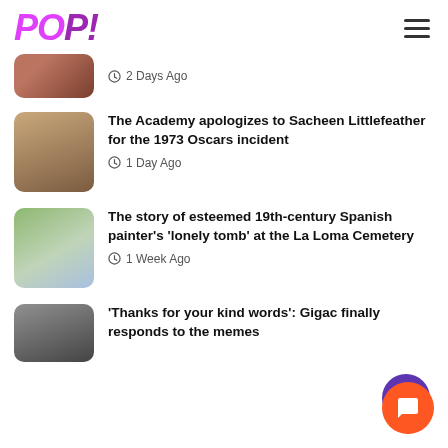POP!
[Figure (photo): Partial thumbnail of a person at top of feed]
2 Days Ago
[Figure (photo): Thumbnail of a woman with long dark hair]
The Academy apologizes to Sacheen Littlefeather for the 1973 Oscars incident
1 Day Ago
[Figure (photo): Thumbnail of a statue covered in greenery at a cemetery]
The story of esteemed 19th-century Spanish painter's 'lonely tomb' at the La Loma Cemetery
1 Week Ago
[Figure (photo): Partial thumbnail of a man in grayscale]
'Thanks for your kind words': Gigac finally responds to the memes